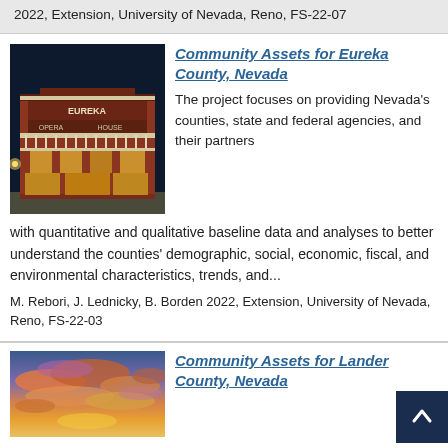2022, Extension, University of Nevada, Reno, FS-22-07
[Figure (photo): Photo of the Eureka Opera House building at night, a historic red brick building with white balcony railing and lit windows]
Community Assets for Eureka County, Nevada
The project focuses on providing Nevada's counties, state and federal agencies, and their partners with quantitative and qualitative baseline data and analyses to better understand the counties' demographic, social, economic, fiscal, and environmental characteristics, trends, and...
M. Rebori, J. Lednicky, B. Borden 2022, Extension, University of Nevada, Reno, FS-22-03
[Figure (photo): Photo of a colorful sunset sky with orange, pink, and purple clouds]
Community Assets for Lander County, Nevada